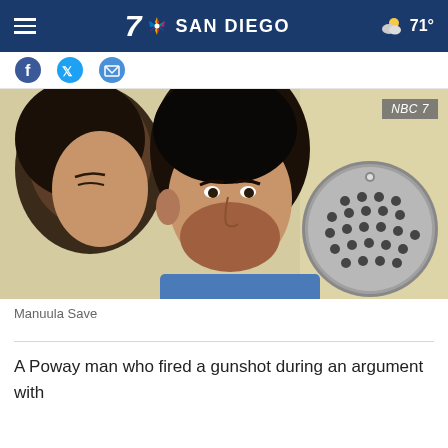7 NBC SAN DIEGO — 71°
[Figure (photo): Two people sitting close together at what appears to be a courtroom microphone. A man with dark hair and beard and a woman with dark hair are shown in close-up. An NBC 7 badge is visible in the top right corner.]
Manuula Save
A Poway man who fired a gunshot during an argument with